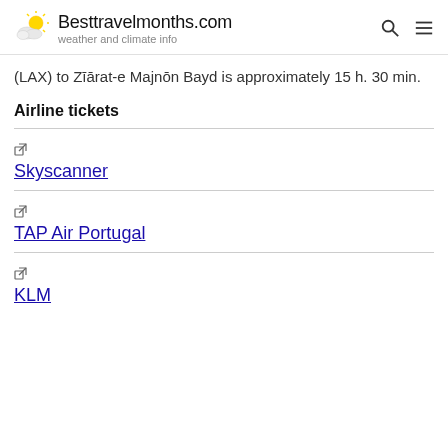Besttravelmonths.com — weather and climate info
(LAX) to Zīārat-e Majnōn Bayd is approximately 15 h. 30 min.
Airline tickets
Skyscanner
TAP Air Portugal
KLM